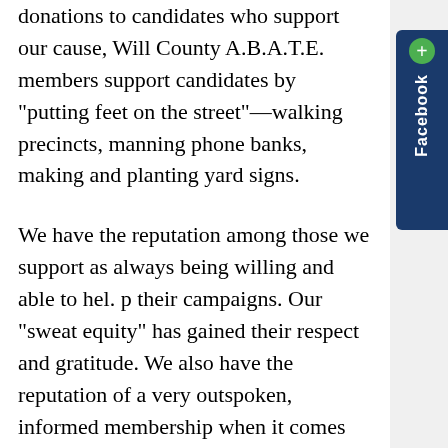donations to candidates who support our cause, Will County A.B.A.T.E. members support candidates by "putting feet on the street"—walking precincts, manning phone banks, making and planting yard signs.
We have the reputation among those we support as always being willing and able to hel. p their campaigns. Our "sweat equity" has gained their respect and gratitude. We also have the reputation of a very outspoken, informed membership when it comes time to contact Legislators regarding